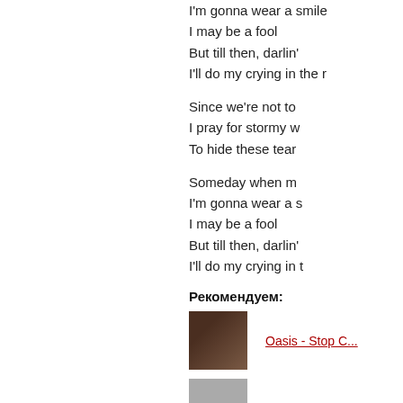I'm gonna wear a smile
I may be a fool
But till then, darlin'
I'll do my crying in the rain
Since we're not together
I pray for stormy weather
To hide these tears
Someday when my crying's done
I'm gonna wear a smile
I may be a fool
But till then, darlin'
I'll do my crying in the rain
Рекомендуем:
Oasis - Stop C...
E-Type - Ange...
Roy Orbison - ...
E-Type - Ange...
A-HA - You'll...